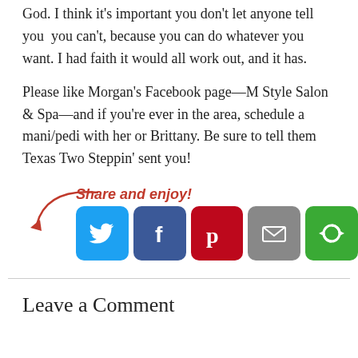God. I think it's important you don't let anyone tell you you can't, because you can do whatever you want. I had faith it would all work out, and it has.
Please like Morgan's Facebook page—M Style Salon & Spa—and if you're ever in the area, schedule a mani/pedi with her or Brittany. Be sure to tell them Texas Two Steppin' sent you!
[Figure (infographic): Share and enjoy! label with red arrow and five social media icon buttons: Twitter (blue bird), Facebook (blue f), Pinterest (red p), Email (grey envelope), More (green circular arrows)]
Leave a Comment